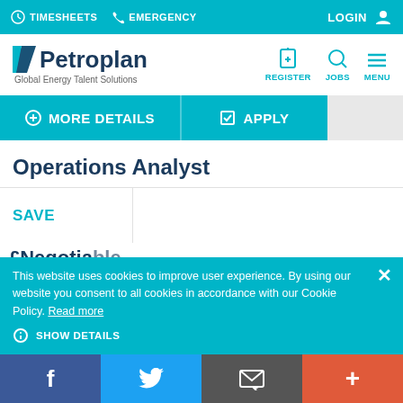TIMESHEETS  EMERGENCY  LOGIN
[Figure (logo): Petroplan logo with tagline 'Global Energy Talent Solutions', and navigation icons for REGISTER, JOBS, MENU]
MORE DETAILS  APPLY
Operations Analyst
SAVE
£Negotiable
This website uses cookies to improve user experience. By using our website you consent to all cookies in accordance with our Cookie Policy. Read more
SHOW DETAILS
f  Twitter  Email  +